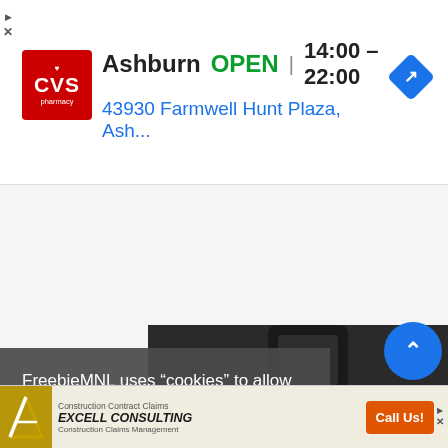[Figure (screenshot): CVS Pharmacy ad banner showing Ashburn location, OPEN 14:00-22:00, address 43930 Farmwell Hunt Plaza, Ash... with CVS logo and navigation icon]
[Figure (screenshot): Collapse/chevron up button below the ad banner]
FreebieMNL uses “cookies” to allow us to help you navigate efficiently to obtain the information and services you need and to enhance user experience. Find out more here.
[Figure (screenshot): Okay button on cookie consent overlay]
[Figure (photo): Hair clipper / trimmer product image in background]
[Figure (screenshot): Expand/chevron up button (blue circle) bottom right]
[Figure (screenshot): Bottom ad banner: Excell Consulting - Construction Contract Claims, Call Us! button]
[Figure (screenshot): Scroll down chevron indicator on left side]